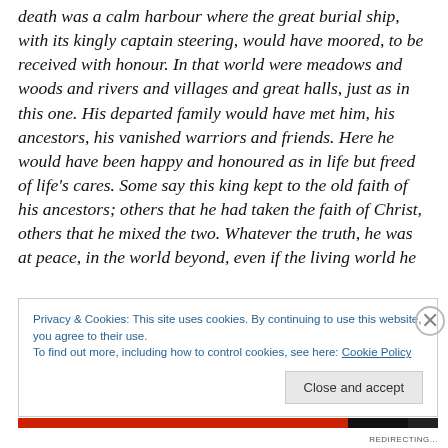death was a calm harbour where the great burial ship, with its kingly captain steering, would have moored, to be received with honour. In that world were meadows and woods and rivers and villages and great halls, just as in this one. His departed family would have met him, his ancestors, his vanished warriors and friends. Here he would have been happy and honoured as in life but freed of life's cares. Some say this king kept to the old faith of his ancestors; others that he had taken the faith of Christ, others that he mixed the two. Whatever the truth, he was at peace, in the world beyond, even if the living world he
Privacy & Cookies: This site uses cookies. By continuing to use this website, you agree to their use.
To find out more, including how to control cookies, see here: Cookie Policy
Close and accept